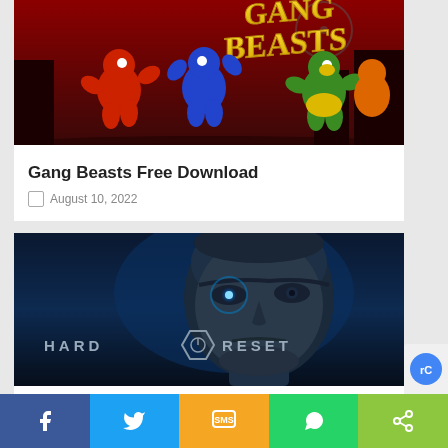[Figure (photo): Gang Beasts game promotional image with colorful jelly-like characters fighting, with 'Gang Beasts' logo in yellow graffiti style on dark red background]
Gang Beasts Free Download
August 10, 2022
[Figure (photo): Hard Reset game promotional image showing a bald man's face in blue lighting with glowing eye, with 'HARD RESET' text and power button icon overlay]
Hard Reset Free Download PC Game
August 8, 2022